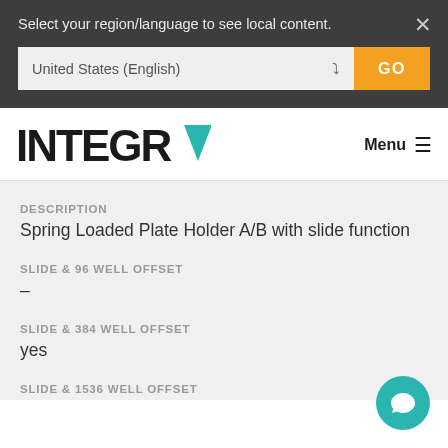Select your region/language to see local content.
United States (English)
GO
[Figure (logo): INTEGRA company logo with teal triangle accent on the A]
Menu ≡
DESCRIPTION
Spring Loaded Plate Holder A/B with slide function
SLIDE  & 96 WELL OFFSET
–
SLIDE & 384 WELL OFFSET
yes
SLIDE & 1536 WELL OFFSET